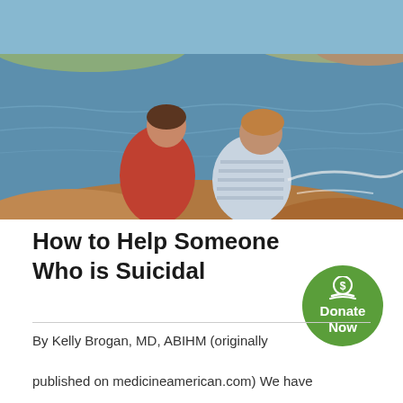[Figure (photo): Two people sitting on rocky coastal cliffs looking out at the ocean. One person wears a red top, the other a blue and white striped shirt. Rocky coastline and blue water visible in background.]
How to Help Someone Who is Suicidal
By Kelly Brogan, MD, ABIHM (originally published on medicineamerican.com) We have